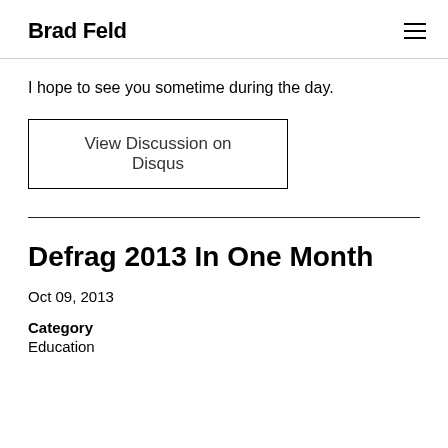Brad Feld
I hope to see you sometime during the day.
View Discussion on Disqus
Defrag 2013 In One Month
Oct 09, 2013
Category
Education